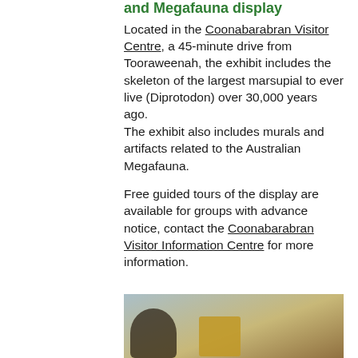and Megafauna display
Located in the Coonabarabran Visitor Centre, a 45-minute drive from Tooraweenah, the exhibit includes the skeleton of the largest marsupial to ever live (Diprotodon) over 30,000 years ago. The exhibit also includes murals and artifacts related to the Australian Megafauna.
Free guided tours of the display are available for groups with advance notice, contact the Coonabarabran Visitor Information Centre for more information.
[Figure (photo): Partial photo showing what appears to be museum display with figures and artifacts, cropped at bottom of page]